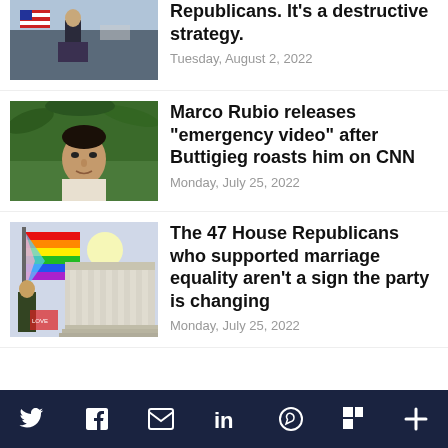[Figure (photo): Partial news article image showing people with American flags at a podium, cropped at top]
Republicans. It's a destructive strategy.
Tuesday, August 2, 2022
[Figure (photo): Head shot of Marco Rubio speaking outdoors with tropical plants in background]
Marco Rubio releases “emergency video” after Buttigieg roasts him on CNN
Monday, July 25, 2022
[Figure (photo): Person waving a rainbow pride flag outside what appears to be the Supreme Court building]
The 47 House Republicans who supported marriage equality aren’t a sign the party is changing
Monday, July 25, 2022
Twitter Facebook Email LinkedIn WhatsApp Flipboard More